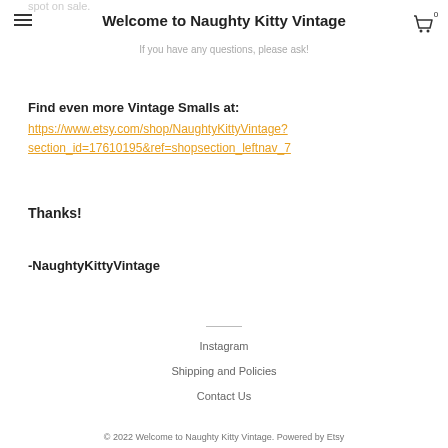Welcome to Naughty Kitty Vintage
If you have any questions, please ask!
Find even more Vintage Smalls at:
https://www.etsy.com/shop/NaughtyKittyVintage?section_id=17610195&ref=shopsection_leftnav_7
Thanks!
-NaughtyKittyVintage
Instagram
Shipping and Policies
Contact Us
© 2022 Welcome to Naughty Kitty Vintage. Powered by Etsy